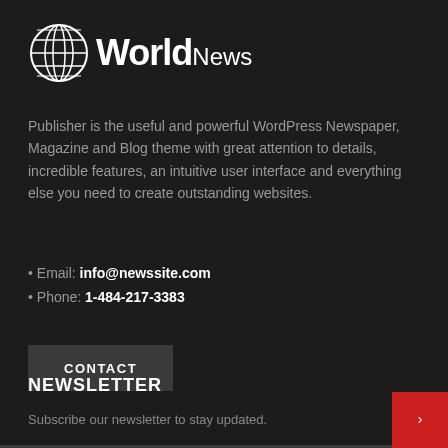[Figure (logo): World News logo with globe icon and text 'World News']
Publisher is the useful and powerful WordPress Newspaper, Magazine and Blog theme with great attention to details, incredible features, an intuitive user interface and everything else you need to create outstanding websites.
• Email: info@newssite.com
• Phone: 1-484-217-3383
CONTACT
NEWSLETTER
Subscribe our newsletter to stay updated.